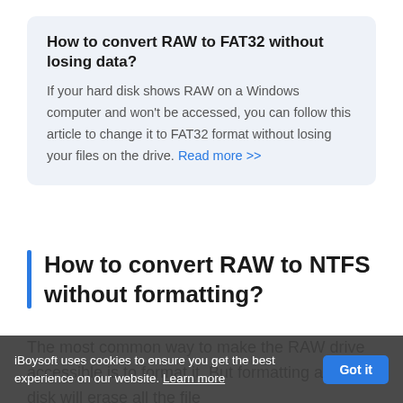How to convert RAW to FAT32 without losing data?
If your hard disk shows RAW on a Windows computer and won't be accessed, you can follow this article to change it to FAT32 format without losing your files on the drive. Read more >>
How to convert RAW to NTFS without formatting?
The most common way to make the RAW drive accessible is to format it. But formatting a hard disk will erase all the files...
iBoysoft uses cookies to ensure you get the best experience on our website. Learn more  Got it